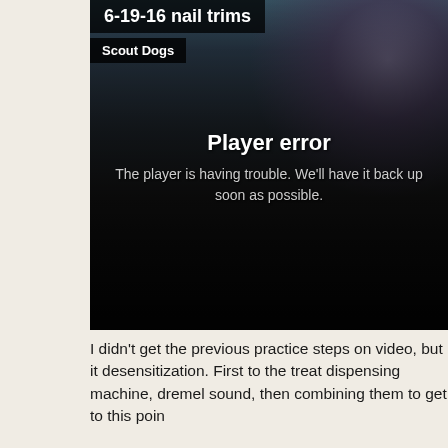6-19-16 nail trims
Scout Dogs
[Figure (screenshot): Video player showing a person trimming a dark dog's nails, with a Player error overlay message: 'The player is having trouble. We'll have it back up as soon as possible.']
I didn't get the previous practice steps on video, but it desensitization. First to the treat dispensing machine, dremel sound, then combining them to get to this poin